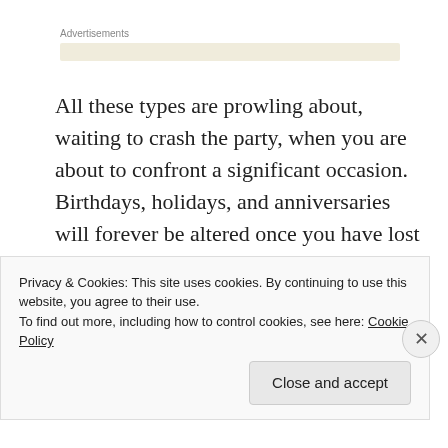Advertisements
All these types are prowling about, waiting to crash the party, when you are about to confront a significant occasion. Birthdays, holidays, and anniversaries will forever be altered once you have lost the person you primarily celebrated them with. My struggle dealing with the date of my 25th wedding anniversary was recently discussed in a post on Medium and
Privacy & Cookies: This site uses cookies. By continuing to use this website, you agree to their use.
To find out more, including how to control cookies, see here: Cookie Policy
Close and accept